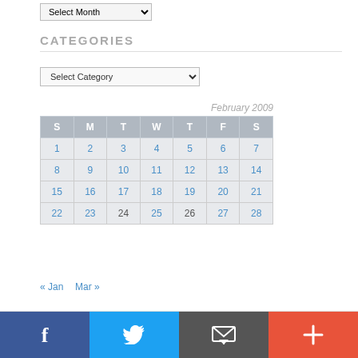[Figure (screenshot): Select Month dropdown at top]
CATEGORIES
[Figure (screenshot): Select Category dropdown]
| S | M | T | W | T | F | S |
| --- | --- | --- | --- | --- | --- | --- |
| 1 | 2 | 3 | 4 | 5 | 6 | 7 |
| 8 | 9 | 10 | 11 | 12 | 13 | 14 |
| 15 | 16 | 17 | 18 | 19 | 20 | 21 |
| 22 | 23 | 24 | 25 | 26 | 27 | 28 |
« Jan   Mar »
f  [twitter]  [email]  +